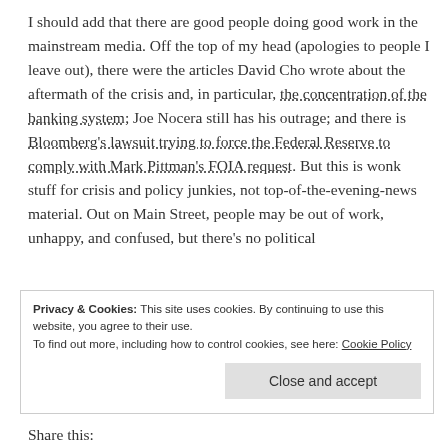I should add that there are good people doing good work in the mainstream media. Off the top of my head (apologies to people I leave out), there were the articles David Cho wrote about the aftermath of the crisis and, in particular, the concentration of the banking system; Joe Nocera still has his outrage; and there is Bloomberg's lawsuit trying to force the Federal Reserve to comply with Mark Pittman's FOIA request. But this is wonk stuff for crisis and policy junkies, not top-of-the-evening-news material. Out on Main Street, people may be out of work, unhappy, and confused, but there's no political
Privacy & Cookies: This site uses cookies. By continuing to use this website, you agree to their use.
To find out more, including how to control cookies, see here: Cookie Policy
Share this: